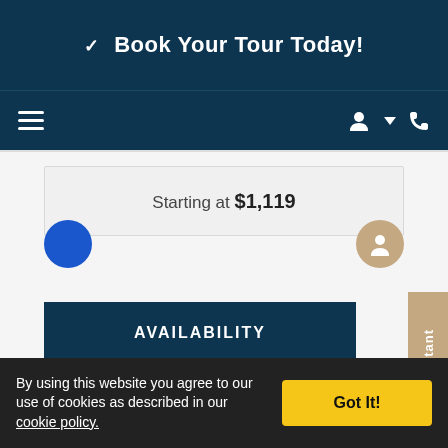✓ Book Your Tour Today!
Starting at $1,119
AVAILABILITY
GUIDED TOUR
Floor Plan Assistant
By using this website you agree to our use of cookies as described in our cookie policy.